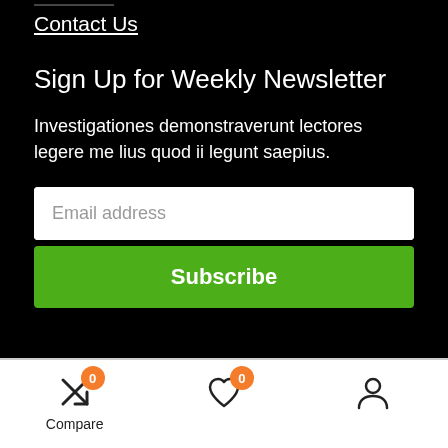Contact Us
Sign Up for Weekly Newsletter
Investigationes demonstraverunt lectores legere me lius quod ii legunt saepius.
Email address
Subscribe
Compare  [heart icon 0]  [user icon]